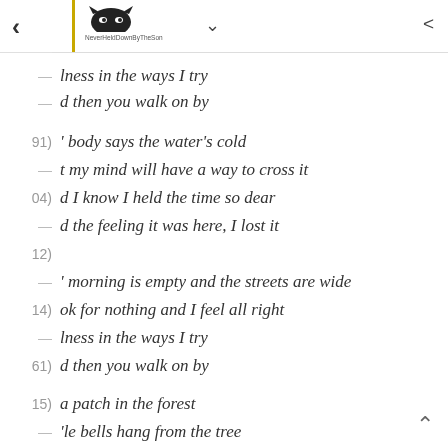NeverHeldDownByTheSun (logo) navigation header
lness in the ways I try
d then you walk on by
(91) ' body says the water's cold
t my mind will have a way to cross it
(04) d I know I held the time so dear
d the feeling it was here, I lost it
(12)
' morning is empty and the streets are wide
(14) ok for nothing and I feel all right
lness in the ways I try
(61) d then you walk on by
(15) a patch in the forest
'le bells hang from the tree
(88) d I ring them so gently
at if you heard me now, my dear?